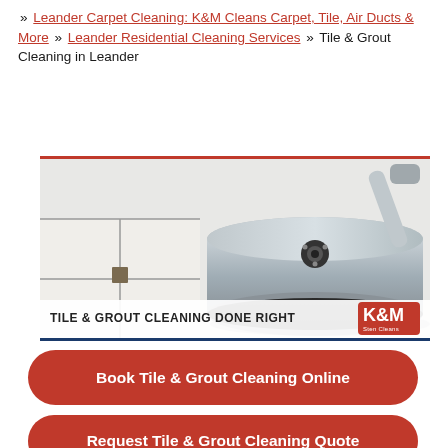» Leander Carpet Cleaning: K&M Cleans Carpet, Tile, Air Ducts & More » Leander Residential Cleaning Services » Tile & Grout Cleaning in Leander
[Figure (photo): Photo of a tile and grout cleaning machine (rotary floor cleaner) on a white tile floor with dirty grout lines. Banner at bottom reads 'TILE & GROUT CLEANING DONE RIGHT' with K&M logo.]
Book Tile & Grout Cleaning Online
Request Tile & Grout Cleaning Quote
Talk to the best tile cleaning